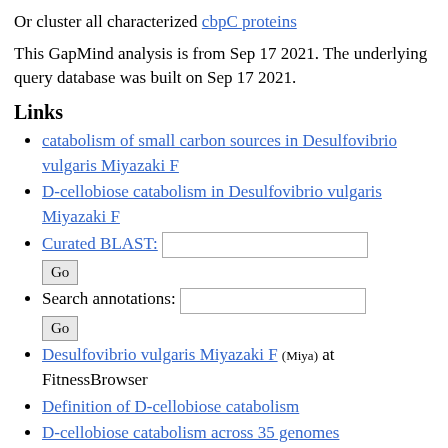Or cluster all characterized cbpC proteins
This GapMind analysis is from Sep 17 2021. The underlying query database was built on Sep 17 2021.
Links
catabolism of small carbon sources in Desulfovibrio vulgaris Miyazaki F
D-cellobiose catabolism in Desulfovibrio vulgaris Miyazaki F
Curated BLAST: [input] Go
Search annotations: [input] Go
Desulfovibrio vulgaris Miyazaki F (Miya) at FitnessBrowser
Definition of D-cellobiose catabolism
D-cellobiose catabolism across 35 genomes
All 35 genomes and all pathways
GapMind for amino acid biosynthesis
Downloads
Candidates (tab-delimited)